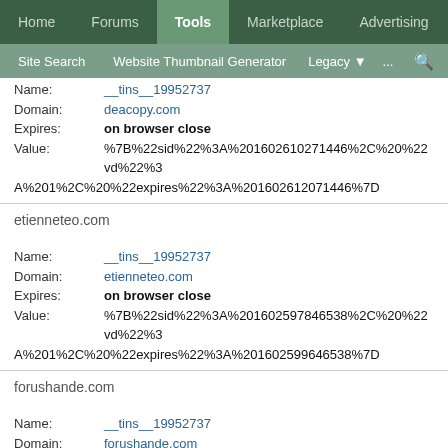Home | Forums | Tools | Marketplace | Advertising | Site Search | Website Thumbnail Generator | Legacy | ...
Name: __tins__19952737
Domain: deacopy.com
Expires: on browser close
Value: %7B%22sid%22%3A%201602610271446%2C%20%22vd%22%3A%201%2C%20%22expires%22%3A%201602612071446%7D
etienneteo.com
Name: __tins__19952737
Domain: etienneteo.com
Expires: on browser close
Value: %7B%22sid%22%3A%201602597846538%2C%20%22vd%22%3A%201%2C%20%22expires%22%3A%201602599646538%7D
forushande.com
Name: __tins__19952737
Domain: forushande.com
Expires: on browser close
Value: %7B%22sid%22%3A%201602539117836%2C%20%22vd%22%3A%201%2C%20%22expires%22%3A%201602540917836%7D
sportdroit.com
Name: __tins__19952737
Domain: sportdroit.com
Expires: on browser close